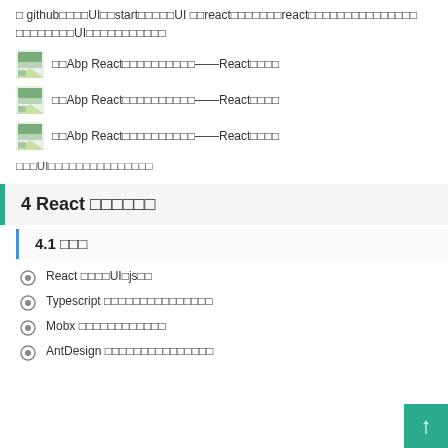□ github□□□□UI□□start□□□□□UI □□react□□□□□□□react□□□□□□□□□□□□□□□ □□□□□□□□UI□□□□□□□□□□□
□□Abp React□□□□□□□□□□——React□□□□
□□Abp React□□□□□□□□□□——React□□□□
□□Abp React□□□□□□□□□□——React□□□□
□□□UI□□□□□□□□□□□□□□□
4 React □□□□□□
4.1 □□□
React □□□□UI□js□□
Typescript □□□□□□□□□□□□□□□
Mobx □□□□□□□□□□□□
AntDesign □□□□□□□□□□□□□□□